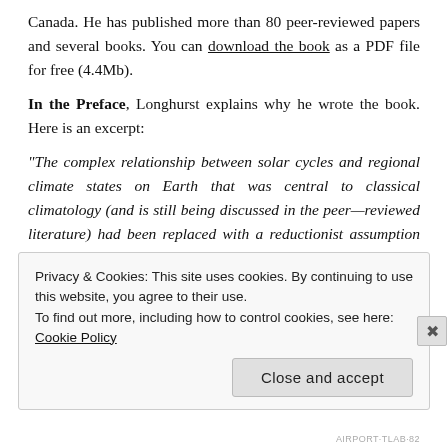Canada. He has published more than 80 peer-reviewed papers and several books. You can download the book as a PDF file for free (4.4Mb).
In the Preface, Longhurst explains why he wrote the book. Here is an excerpt:
“The complex relationship between solar cycles and regional climate states on Earth that was central to classical climatology (and is still being discussed in the peer—reviewed literature) had been replaced with a reductionist assumption concerning radiative balance, and the effective dismissal of any significant solar influence. I found this rejection of an entire body of scientific literature troubling, and looked for a disinterested discussion of the balance between natural and
Privacy & Cookies: This site uses cookies. By continuing to use this website, you agree to their use.
To find out more, including how to control cookies, see here: Cookie Policy
Close and accept
AIRPORT·TLAB·82